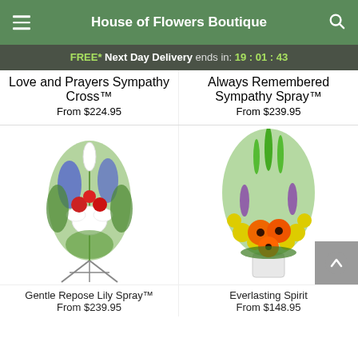House of Flowers Boutique
FREE* Next Day Delivery ends in: 19:01:43
Love and Prayers Sympathy Cross™
From $224.95
Always Remembered Sympathy Spray™
From $239.95
[Figure (photo): Gentle Repose Lily Spray - a tall funeral standing spray on an easel with red roses, white lilies, blue delphinium, and greenery]
[Figure (photo): Everlasting Spirit - a bright floral arrangement in a white container with orange gerbera daisies, yellow flowers, green bells of Ireland, and purple accents]
Gentle Repose Lily Spray™
From $239.95
Everlasting Spirit
From $148.95